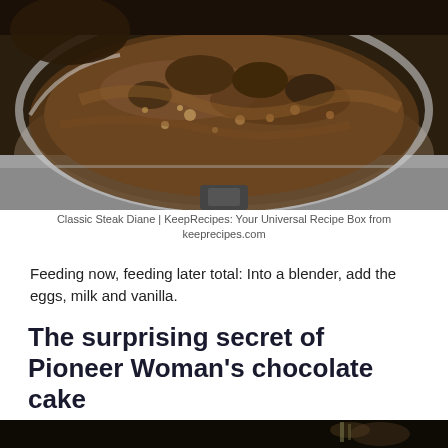[Figure (photo): Close-up photograph of Classic Steak Diane cooking in a pan, showing a dark brown sauce with mushrooms and meat bubbling in a stainless steel skillet]
Classic Steak Diane | KeepRecipes: Your Universal Recipe Box from keeprecipes.com
Feeding now, feeding later total: Into a blender, add the eggs, milk and vanilla.
The surprising secret of Pioneer Woman's chocolate cake
[Figure (photo): Dark photograph partially visible at the bottom of the page, appears to show a dark background with some light elements]